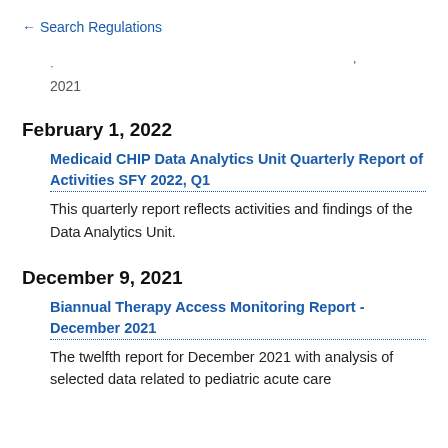← Search Regulations
2021
February 1, 2022
Medicaid CHIP Data Analytics Unit Quarterly Report of Activities SFY 2022, Q1
This quarterly report reflects activities and findings of the Data Analytics Unit.
December 9, 2021
Biannual Therapy Access Monitoring Report - December 2021
The twelfth report for December 2021 with analysis of selected data related to pediatric acute care